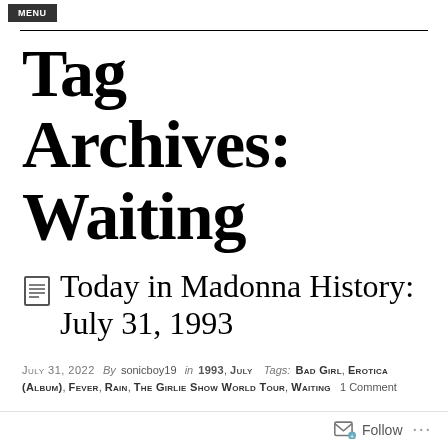MENU
Tag Archives: Waiting
Today in Madonna History: July 31, 1993
July 31, 2022  By sonicboy19  in 1993, July  Tags: Bad Girl, Erotica (Album), Fever, Rain, The Girlie Show World Tour, Waiting  1 Comment
Follow ...